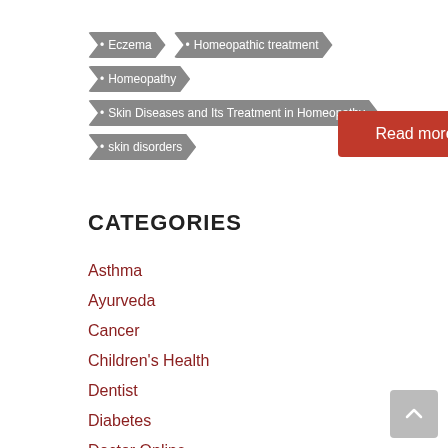• Eczema
• Homeopathic treatment
• Homeopathy
• Skin Diseases and Its Treatment in Homeopathy
• skin disorders
CATEGORIES
Asthma
Ayurveda
Cancer
Children's Health
Dentist
Diabetes
Doctor Online
Doctor's Desk
Hair Loss
Health Facts